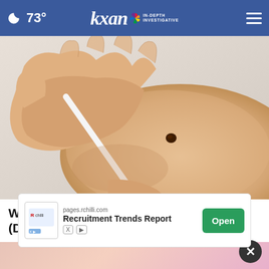73° KXAN IN-DEPTH INVESTIGATIVE
[Figure (photo): Close-up photo of a hand holding a white tool/ruler against skin with a dark mole or lesion visible]
Warning Indicators of Plaque Psoriasis (Don't Ignore Them)
Plaque Psoriasis
[Figure (screenshot): Advertisement banner: pages.rchilli.com Recruitment Trends Report with Open button. Partial image visible at bottom.]